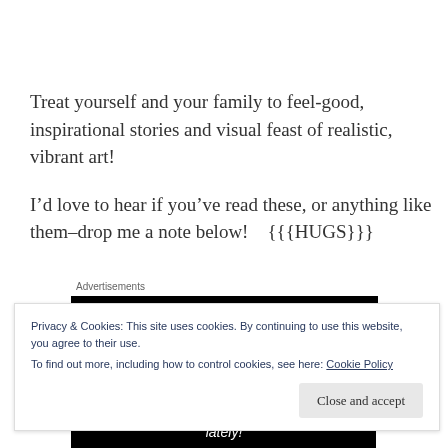Treat yourself and your family to feel-good, inspirational stories and visual feast of realistic, vibrant art!
I’d love to hear if you’ve read these, or anything like them–drop me a note below!   {{{HUGS}}}
Advertisements
[Figure (other): Black advertisement banner block]
Privacy & Cookies: This site uses cookies. By continuing to use this website, you agree to their use.
To find out more, including how to control cookies, see here: Cookie Policy
Close and accept